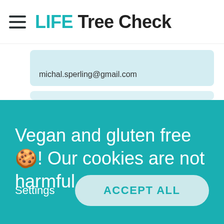LIFE Tree Check
michal.sperling@gmail.com
Vegan and gluten free🍪! Our cookies are not harmful.
Settings
ACCEPT ALL